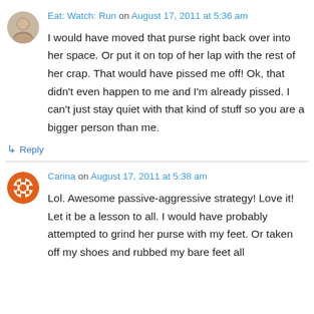Eat: Watch: Run on August 17, 2011 at 5:36 am
I would have moved that purse right back over into her space. Or put it on top of her lap with the rest of her crap. That would have pissed me off! Ok, that didn't even happen to me and I'm already pissed. I can't just stay quiet with that kind of stuff so you are a bigger person than me.
↳ Reply
Carina on August 17, 2011 at 5:38 am
Lol. Awesome passive-aggressive strategy! Love it! Let it be a lesson to all. I would have probably attempted to grind her purse with my feet. Or taken off my shoes and rubbed my bare feet all